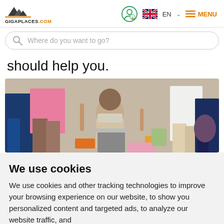GIGAPLACES.COM — EN — MENU
Where do you want to go?
should help you.
[Figure (photo): Crowded street scene in India with a man crouching among many people's legs and torsos, colorful clothing visible.]
We use cookies
We use cookies and other tracking technologies to improve your browsing experience on our website, to show you personalized content and targeted ads, to analyze our website traffic, and